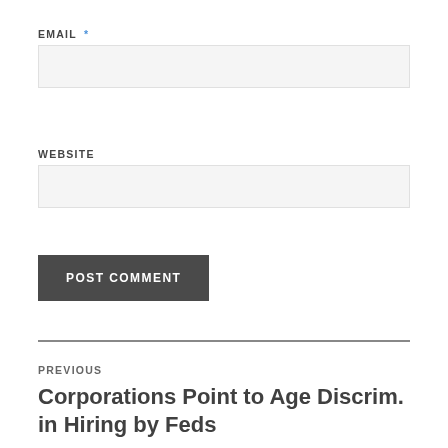EMAIL *
[Figure (other): Email input text field (empty, light gray background)]
WEBSITE
[Figure (other): Website input text field (empty, light gray background)]
POST COMMENT
PREVIOUS
Corporations Point to Age Discrim. in Hiring by Feds